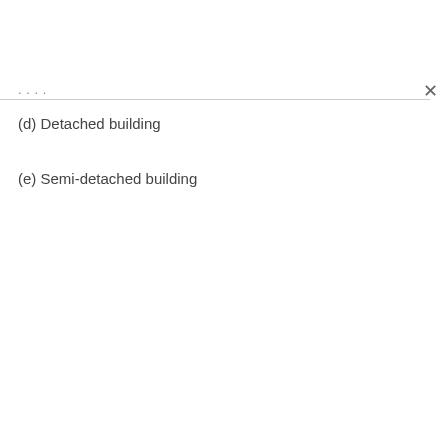...
(d) Detached building
(e) Semi-detached building